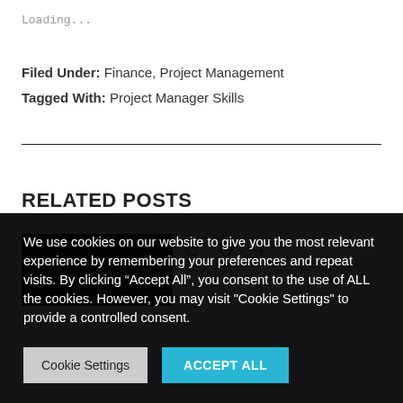Loading...
Filed Under: Finance, Project Management
Tagged With: Project Manager Skills
RELATED POSTS
[Figure (photo): Partial image of a related post with dark background]
We use cookies on our website to give you the most relevant experience by remembering your preferences and repeat visits. By clicking “Accept All”, you consent to the use of ALL the cookies. However, you may visit "Cookie Settings" to provide a controlled consent.
Cookie Settings    ACCEPT ALL